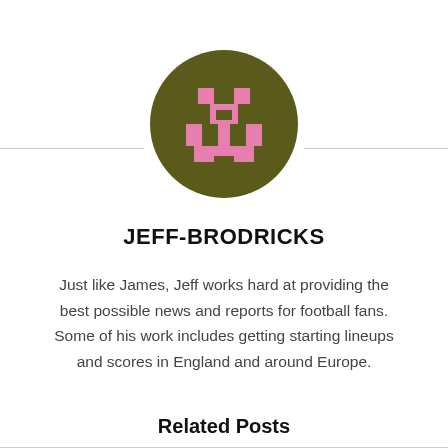[Figure (illustration): Circular avatar with olive/dark green background and a pink pixel-art face/character in the center, resembling a retro 8-bit style icon.]
JEFF-BRODRICKS
Just like James, Jeff works hard at providing the best possible news and reports for football fans. Some of his work includes getting starting lineups and scores in England and around Europe.
Related Posts